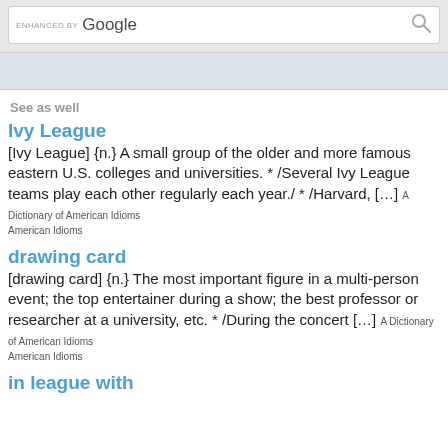[Figure (screenshot): Google search bar with 'ENHANCED BY Google' text and search icon]
[Figure (screenshot): Light blue-gray advertisement banner area]
See as well
Ivy League
[Ivy League] {n.} A small group of the older and more famous eastern U.S. colleges and universities. * /Several Ivy League teams play each other regularly each year./ * /Harvard, […] A Dictionary of American Idioms
drawing card
[drawing card] {n.} The most important figure in a multi-person event; the top entertainer during a show; the best professor or researcher at a university, etc. * /During the concert […] A Dictionary of American Idioms
in league with